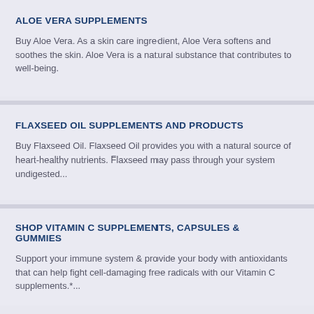ALOE VERA SUPPLEMENTS
Buy Aloe Vera. As a skin care ingredient, Aloe Vera softens and soothes the skin. Aloe Vera is a natural substance that contributes to well-being.
FLAXSEED OIL SUPPLEMENTS AND PRODUCTS
Buy Flaxseed Oil. Flaxseed Oil provides you with a natural source of heart-healthy nutrients. Flaxseed may pass through your system undigested...
SHOP VITAMIN C SUPPLEMENTS, CAPSULES & GUMMIES
Support your immune system & provide your body with antioxidants that can help fight cell-damaging free radicals with our Vitamin C supplements.*...